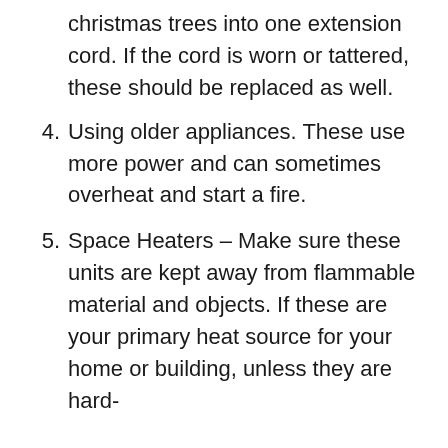christmas trees into one extension cord. If the cord is worn or tattered, these should be replaced as well.
4. Using older appliances. These use more power and can sometimes overheat and start a fire.
5. Space Heaters – Make sure these units are kept away from flammable material and objects. If these are your primary heat source for your home or building, unless they are hard-